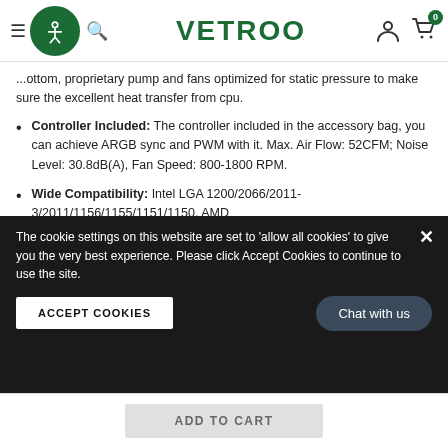VETROO
...ottom, proprietary pump and fans optimized for static pressure to make sure the excellent heat transfer from cpu.
Controller Included: The controller included in the accessory bag, you can achieve ARGB sync and PWM with it. Max. Air Flow: 52CFM; Noise Level: 30.8dB(A), Fan Speed: 800-1800 RPM.
Wide Compatibility: Intel LGA 1200/2066/2011-3/2011/1156/1155/1151/1150, AMD AM4/AM3+/AM3/AM2+/AM2/FM2+/FM2/FM1. (Note: No AMD backplate in the package, The AMD must be installed with the original bracket of motherboard)
RELATED PRODUCTS
The cookie settings on this website are set to 'allow all cookies' to give you the very best experience. Please click Accept Cookies to continue to use the site.
ACCEPT COOKIES
Chat with us